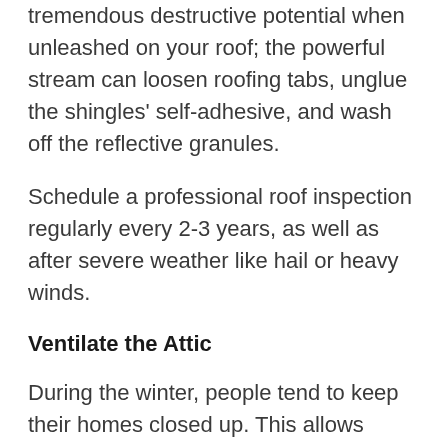tremendous destructive potential when unleashed on your roof; the powerful stream can loosen roofing tabs, unglue the shingles' self-adhesive, and wash off the reflective granules.
Schedule a professional roof inspection regularly every 2-3 years, as well as after severe weather like hail or heavy winds.
Ventilate the Attic
During the winter, people tend to keep their homes closed up. This allows warm moist air from showering, cooking, or running appliances such as humidifiers to